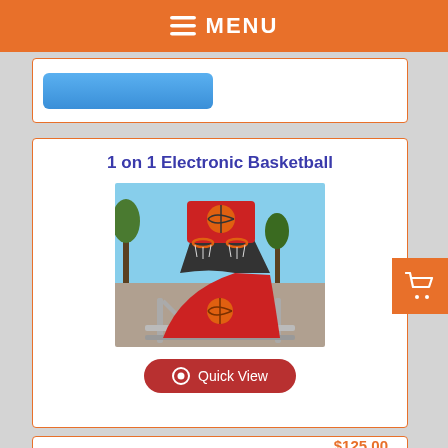≡ MENU
[Figure (screenshot): Blue button partially visible at top of upper card stub]
1 on 1 Electronic Basketball
[Figure (photo): Photo of a 1 on 1 Electronic Basketball arcade game with red padded seat and metal frame, basketball hoops visible at top, set outdoors on gravel]
Quick View
$125.00